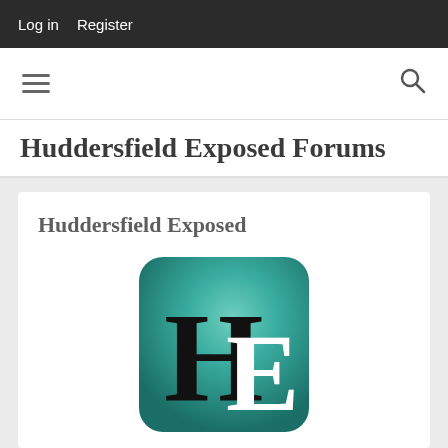Log in   Register
[Figure (other): Hamburger menu icon (three horizontal lines) on the left and a search magnifying glass icon on the right, in a white navigation bar]
Huddersfield Exposed Forums
Huddersfield Exposed
[Figure (logo): Huddersfield Exposed logo: a rounded-square icon with a teal/green gradient background featuring large letters 'H' in black and 'E' in white overlapping]